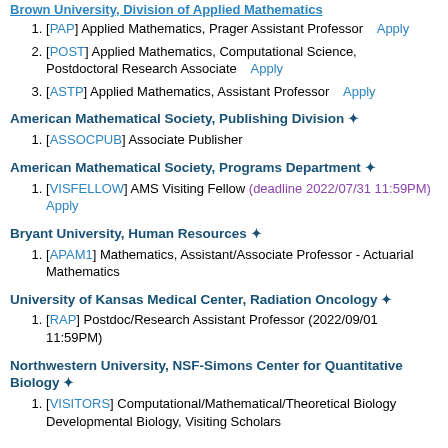Brown University, Division of Applied Mathematics
[PAP] Applied Mathematics, Prager Assistant Professor   Apply
[POST] Applied Mathematics, Computational Science, Postdoctoral Research Associate   Apply
[ASTP] Applied Mathematics, Assistant Professor   Apply
American Mathematical Society, Publishing Division ✦
[ASSOCPUB] Associate Publisher
American Mathematical Society, Programs Department ✦
[VISFELLOW] AMS Visiting Fellow (deadline 2022/07/31 11:59PM)  Apply
Bryant University, Human Resources ✦
[APAM1] Mathematics, Assistant/Associate Professor - Actuarial Mathematics
University of Kansas Medical Center, Radiation Oncology ✦
[RAP] Postdoc/Research Assistant Professor (2022/09/01 11:59PM)
Northwestern University, NSF-Simons Center for Quantitative Biology ✦
[VISITORS] Computational/Mathematical/Theoretical Biology Developmental Biology, Visiting Scholars